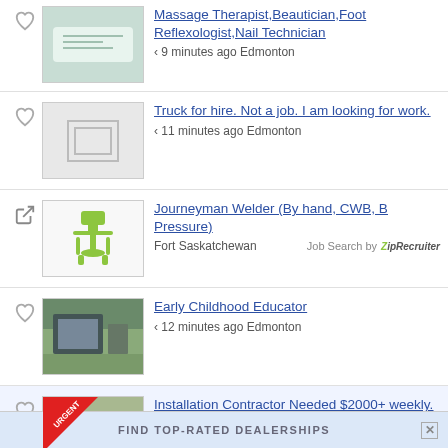Massage Therapist,Beautician,Foot Reflexologist,Nail Technician
< 9 minutes ago Edmonton
Truck for hire. Not a job. I am looking for work.
< 11 minutes ago Edmonton
Journeyman Welder (By hand, CWB, B Pressure)
Fort Saskatchewan
Job Search by ZipRecruiter
Early Childhood Educator
< 12 minutes ago Edmonton
Installation Contractor Needed $2000+ weekly. Flexible schedule!
< 14 minutes ago Edmonton
[Figure (screenshot): Ad bar at bottom: FIND TOP-RATED DEALERSHIPS]